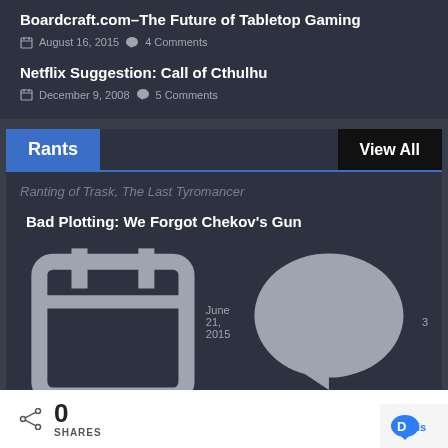Boardcraft.com–The Future of Tabletop Gaming
August 16, 2015   4 Comments
Netflix Suggestion: Call of Cthulhu
December 9, 2008   5 Comments
Rants
View All
Ranting of Trask, The Last Tyromancer
Bad Plotting: We Forgot Chekov's Gun
June 21, 2015   3
The Stars My Destination Movie Will Fail Because Hollywood Execs are Spineless Cowards
0
SHARES